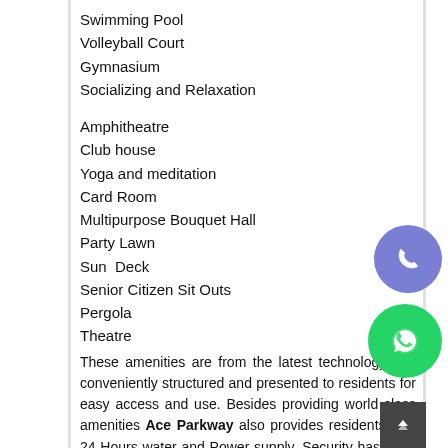Swimming Pool
Volleyball Court
Gymnasium
Socializing and Relaxation
Amphitheatre
Club house
Yoga and meditation
Card Room
Multipurpose Bouquet Hall
Party Lawn
Sun  Deck
Senior Citizen Sit Outs
Pergola
Theatre
These amenities are from the latest technology and conveniently structured and presented to residents for easy access and use. Besides providing world class amenities Ace Parkway also provides residents with 24 Hours water and Power supply. Security has been given 3-tier structure namely CCTV surveillance, manned security and gated security making it absolutely foolproof for intruders. Spacious car parking has been provided for all the 11 towers and separate car parking is being provided for visitors. The Ace Parkway is eco-friendliness personified as it has center green and water